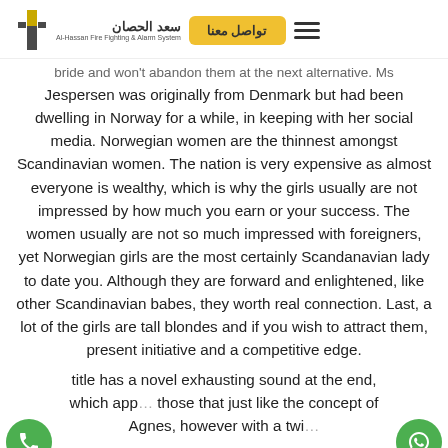تواصل معنا | سعد الحصان Al-Hassan Fire Fighting & Alarm System
bride and won't abandon them at the next alternative. Ms Jespersen was originally from Denmark but had been dwelling in Norway for a while, in keeping with her social media. Norwegian women are the thinnest amongst Scandinavian women. The nation is very expensive as almost everyone is wealthy, which is why the girls usually are not impressed by how much you earn or your success. The women usually are not so much impressed with foreigners, yet Norwegian girls are the most certainly Scandanavian lady to date you. Although they are forward and enlightened, like other Scandinavian babes, they worth real connection. Last, a lot of the girls are tall blondes and if you wish to attract them, present initiative and a competitive edge.
title has a novel exhausting sound at the end, which appears to those that just like the concept of Agnes, however with a twist. Scandinavian girls named Agneta often use the nickname Aggie.